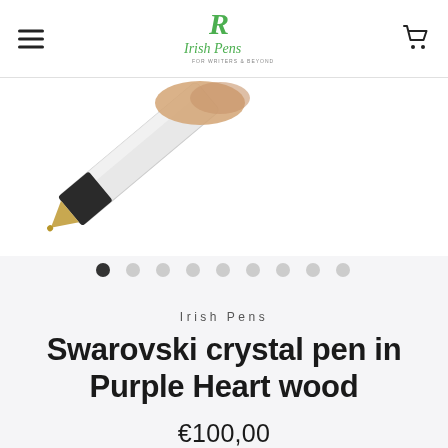Irish Pens — navigation header with hamburger menu, logo, and cart icon
[Figure (photo): Close-up photo of a pen tip with silver barrel and gold nib against a white background]
[Figure (infographic): Image carousel dot indicators — 9 dots, first one active (dark), rest light grey]
Irish Pens
Swarovski crystal pen in Purple Heart wood
€100,00